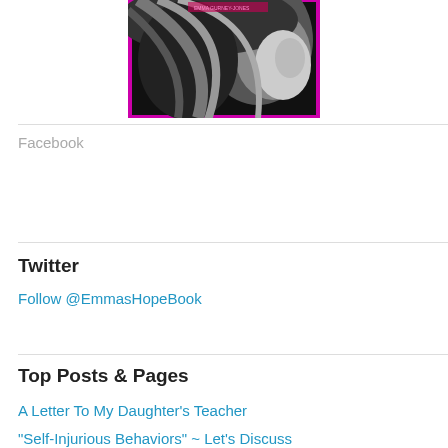[Figure (photo): Black and white photo of a woman with flowing blonde hair, framed with a magenta/pink border. Appears to be a book cover for Emma Gurney-Jones or similar.]
Facebook
Twitter
Follow @EmmasHopeBook
Top Posts & Pages
A Letter To My Daughter's Teacher
"Self-Injurious Behaviors" ~ Let's Discuss